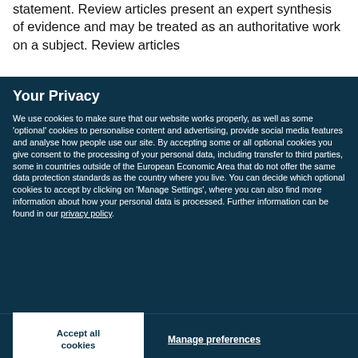statement. Review articles present an expert synthesis of evidence and may be treated as an authoritative work on a subject. Review articles
Your Privacy
We use cookies to make sure that our website works properly, as well as some 'optional' cookies to personalise content and advertising, provide social media features and analyse how people use our site. By accepting some or all optional cookies you give consent to the processing of your personal data, including transfer to third parties, some in countries outside of the European Economic Area that do not offer the same data protection standards as the country where you live. You can decide which optional cookies to accept by clicking on 'Manage Settings', where you can also find more information about how your personal data is processed. Further information can be found in our privacy policy.
Accept all cookies
Manage preferences